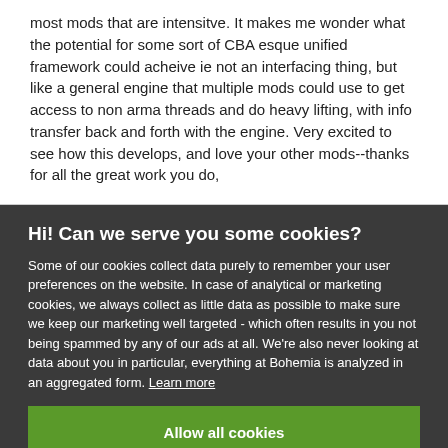most mods that are intensitve.  It makes me wonder what the potential for some sort of CBA esque unified framework could acheive  ie not an interfacing thing, but like a general engine that multiple mods could use to get access to non arma threads and do heavy lifting, with info transfer back and forth with the engine.  Very excited to see how this develops, and love your other mods--thanks for all the great work you do,
Hi! Can we serve you some cookies?
Some of our cookies collect data purely to remember your user preferences on the website. In case of analytical or marketing cookies, we always collect as little data as possible to make sure we keep our marketing well targeted - which often results in you not being spammed by any of our ads at all. We're also never looking at data about you in particular, everything at Bohemia is analyzed in an aggregated form. Learn more
Allow all cookies
I want more options